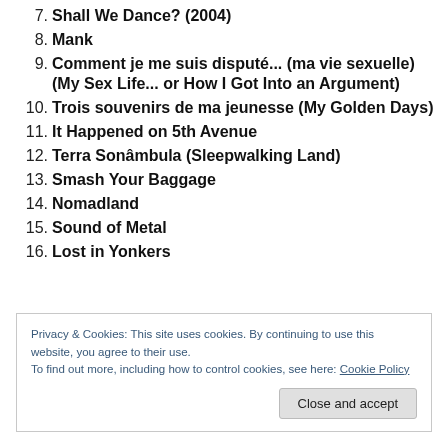7. Shall We Dance? (2004)
8. Mank
9. Comment je me suis disputé... (ma vie sexuelle) (My Sex Life... or How I Got Into an Argument)
10. Trois souvenirs de ma jeunesse (My Golden Days)
11. It Happened on 5th Avenue
12. Terra Sonâmbula (Sleepwalking Land)
13. Smash Your Baggage
14. Nomadland
15. Sound of Metal
16. Lost in Yonkers
Privacy & Cookies: This site uses cookies. By continuing to use this website, you agree to their use. To find out more, including how to control cookies, see here: Cookie Policy